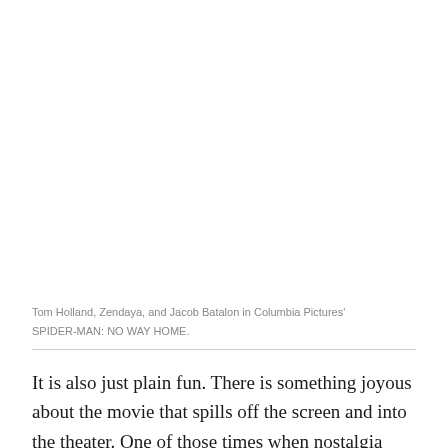[Figure (photo): Photo of Tom Holland, Zendaya, and Jacob Batalon in Columbia Pictures' SPIDER-MAN: NO WAY HOME (image area appears blank/white in this view)]
Tom Holland, Zendaya, and Jacob Batalon in Columbia Pictures' SPIDER-MAN: NO WAY HOME.
It is also just plain fun. There is something joyous about the movie that spills off the screen and into the theater. One of those times when nostalgia actually